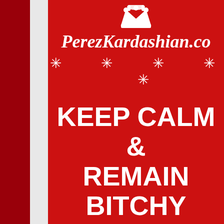[Figure (illustration): Red background 'Keep Calm' style poster with dark red and white vertical bars on the left, a crown at the top, asterisk row, bold white text reading 'PerezKardashian.co' and 'KEEP CALM & REMAIN BITCHY', and a skull at the bottom.]